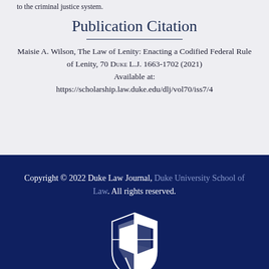to the criminal justice system.
Publication Citation
Maisie A. Wilson, The Law of Lenity: Enacting a Codified Federal Rule of Lenity, 70 Duke L.J. 1663-1702 (2021)
Available at:
https://scholarship.law.duke.edu/dlj/vol70/iss7/4
Copyright © 2022 Duke Law Journal, Duke University School of Law. All rights reserved.